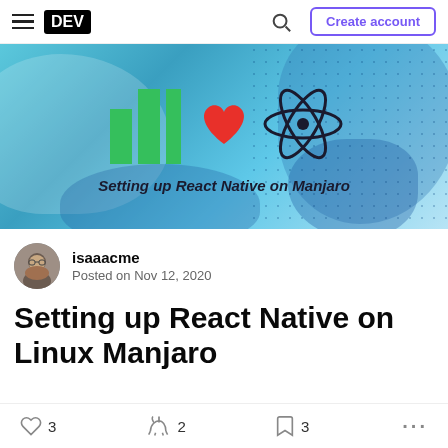DEV | Create account
[Figure (illustration): Hero banner for 'Setting up React Native on Manjaro' article showing Manjaro logo (green), a red heart, and a React atom logo on a blue background with blob shapes and dot pattern.]
isaaacme
Posted on Nov 12, 2020
Setting up React Native on Linux Manjaro
♡ 3   🦄 2   🔖 3   ...